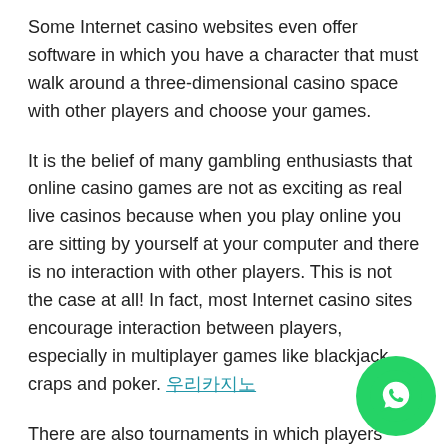Some Internet casino websites even offer software in which you have a character that must walk around a three-dimensional casino space with other players and choose your games.
It is the belief of many gambling enthusiasts that online casino games are not as exciting as real live casinos because when you play online you are sitting by yourself at your computer and there is no interaction with other players. This is not the case at all! In fact, most Internet casino sites encourage interaction between players, especially in multiplayer games like blackjack, craps and poker. 우리카지노
There are also tournaments in which players compete against each other in all forms of casino games, including slot machines. Online casino tournaments can be a fantastic social experience! When you play in online casino tournaments you pay an entry fee. For this fee you receive a predetermined amount of chips. Each player receives the